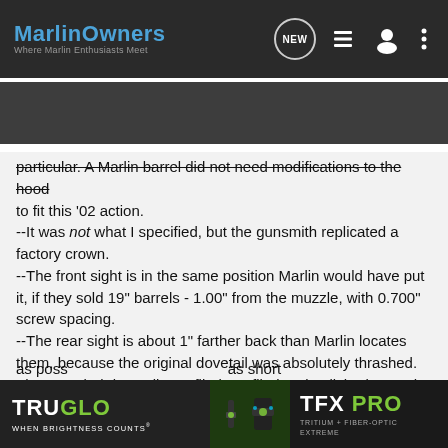MarlinOwners — Where Marlin Enthusiasts Meet
particular. A Marlin barrel did not need modifications to the hood to fit this '02 action.
--It was not what I specified, but the gunsmith replicated a factory crown.
--The front sight is in the same position Marlin would have put it, if they sold 19" barrels - 1.00" from the muzzle, with 0.700" screw spacing.
--The rear sight is about 1" farther back than Marlin locates them, because the original dovetail was absolutely thrashed. The mangled dovetail was filed, profiled and polished smooth.
--The "odd" 19 inch length was intentional - culminating from a lot of thought about the future of the rifle. It eliminated all of the damage done by Remington (including a double D/T for the front sight with broken screws in one set), but to give as short as possible [barrel el] ported.
[Figure (screenshot): TRUGLO TFX PRO advertisement banner showing gun sights against dark background. Left side: TRUGLO logo with tagline WHEN BRIGHTNESS COUNTS. Center: product image of fiber optic sights on green background. Right side: TFX PRO TRITIUM + FIBER-OPTIC EXTREME branding.]